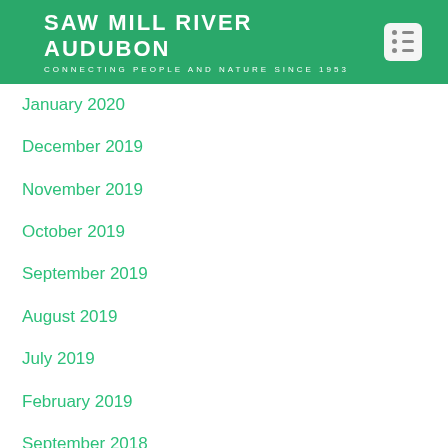SAW MILL RIVER AUDUBON
CONNECTING PEOPLE AND NATURE SINCE 1953
January 2020
December 2019
November 2019
October 2019
September 2019
August 2019
July 2019
February 2019
September 2018
September 2017